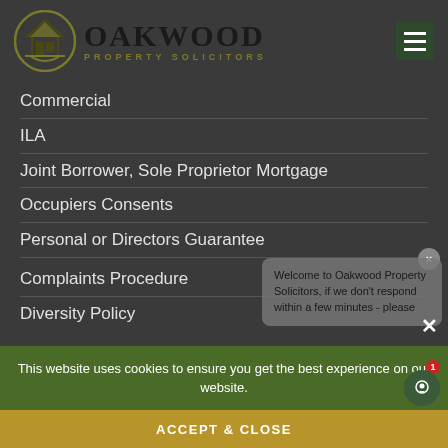[Figure (logo): Oakwood Property Solicitors logo with circular house icon and text]
Commercial
ILA
Joint Borrower, Sole Proprietor Mortgage
Occupiers Consents
Personal or Directors Guarantee
Complaints Procedure
Diversity Policy
Welcome to Oakwood Property Solicitors, if we don't respond within a few minutes - please
This website uses cookies to ensure you get the best experience on our website.
ACCEPT & CLOSE